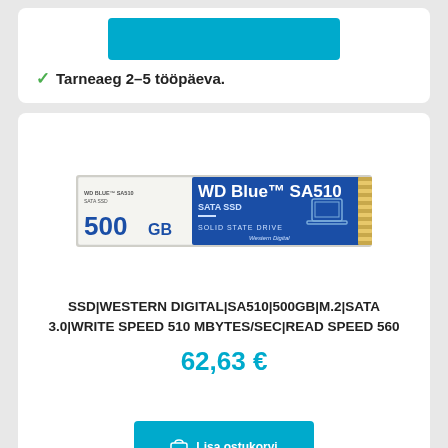Tarneaeg 2-5 tööpäeva.
[Figure (photo): WD Blue SA510 500GB M.2 SATA SSD product photo]
SSD|WESTERN DIGITAL|SA510|500GB|M.2|SATA 3.0|WRITE SPEED 510 MBYTES/SEC|READ SPEED 560
62,63 €